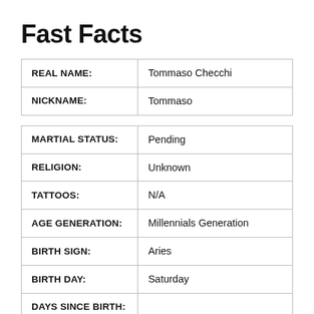Fast Facts
| REAL NAME: | Tommaso Checchi |
| NICKNAME: | Tommaso |
| MARTIAL STATUS: | Pending |
| RELIGION: | Unknown |
| TATTOOS: | N/A |
| AGE GENERATION: | Millennials Generation |
| BIRTH SIGN: | Aries |
| BIRTH DAY: | Saturday |
| DAYS SINCE BIRTH: |  |